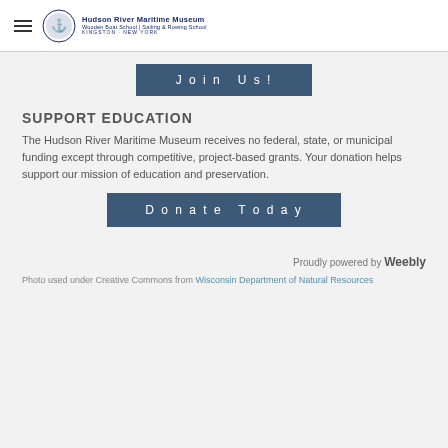Hudson River Maritime Museum | Wooden Boat School | Sailing & Rowing School | Kingston, New York
Join Us!
SUPPORT EDUCATION
The Hudson River Maritime Museum receives no federal, state, or municipal funding except through competitive, project-based grants. Your donation helps support our mission of education and preservation.
Donate Today
Proudly powered by Weebly
Photo used under Creative Commons from Wisconsin Department of Natural Resources